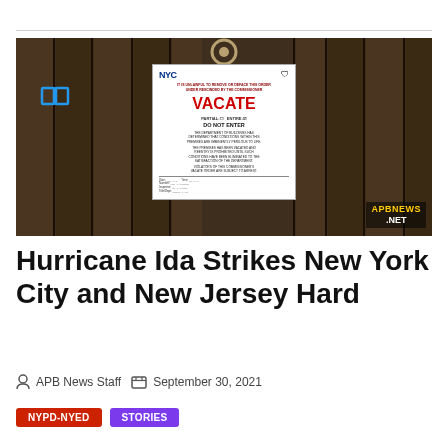[Figure (photo): A NYC Department of Buildings VACATE order posted on a dark wooden door. The white sign reads 'VACATE' in large red letters, 'PARTIAL / ENTIRE: DO NOT ENTER' with the ENTIRE box checked, followed by text stating the department has determined conditions are imminently perilous to life. The APBNews.NET watermark appears in the bottom right corner. A book/reading icon appears in the top left corner of the photo.]
Hurricane Ida Strikes New York City and New Jersey Hard
APB News Staff   September 30, 2021
NYPD-NYED   STORIES